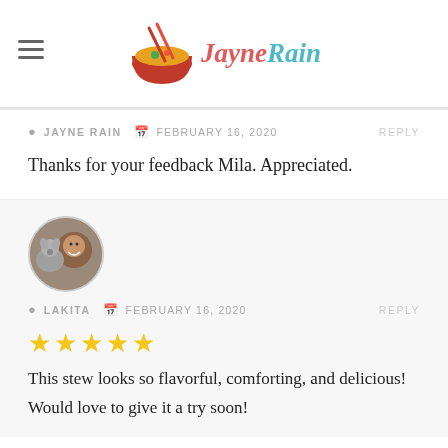[Figure (logo): Jayne Rain food blog logo with bowl of soup and chopsticks, red and teal text]
Jayne Rain
JAYNE RAIN  FEBRUARY 16, 2020  REPLY
Thanks for your feedback Mila. Appreciated.
[Figure (photo): Circular avatar photo of a woman smiling with a small grey dog]
LAKITA  FEBRUARY 16, 2020  REPLY
★★★★★
This stew looks so flavorful, comforting, and delicious! Would love to give it a try soon!